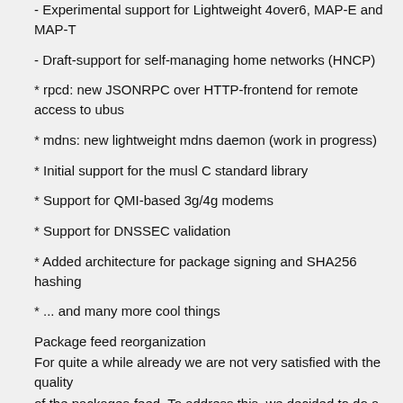- Experimental support for Lightweight 4over6, MAP-E and MAP-T
- Draft-support for self-managing home networks (HNCP)
* rpcd: new JSONRPC over HTTP-frontend for remote access to ubus
* mdns: new lightweight mdns daemon (work in progress)
* Initial support for the musl C standard library
* Support for QMI-based 3g/4g modems
* Support for DNSSEC validation
* Added architecture for package signing and SHA256 hashing
* ... and many more cool things
Package feed reorganization
For quite a while already we are not very satisfied with the quality
of the packages-feed. To address this, we decided to do a